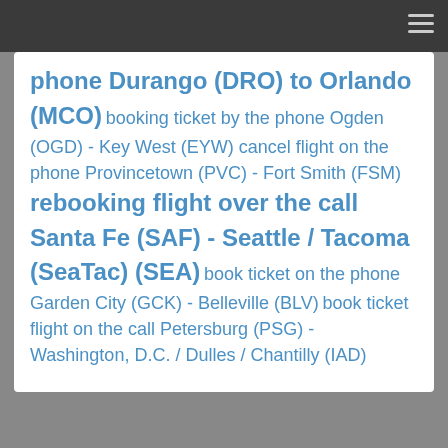Navigation menu bar
phone Durango (DRO) to Orlando (MCO) booking ticket by the phone Ogden (OGD) - Key West (EYW) cancel flight on the phone Provincetown (PVC) - Fort Smith (FSM) rebooking flight over the call Santa Fe (SAF) - Seattle / Tacoma (SeaTac) (SEA) book ticket on the phone Garden City (GCK) - Belleville (BLV) book ticket flight on the call Petersburg (PSG) - Washington, D.C. / Dulles / Chantilly (IAD)